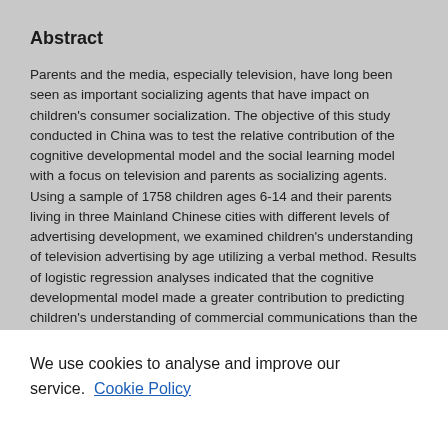Abstract
Parents and the media, especially television, have long been seen as important socializing agents that have impact on children's consumer socialization. The objective of this study conducted in China was to test the relative contribution of the cognitive developmental model and the social learning model with a focus on television and parents as socializing agents. Using a sample of 1758 children ages 6-14 and their parents living in three Mainland Chinese cities with different levels of advertising development, we examined children's understanding of television advertising by age utilizing a verbal method. Results of logistic regression analyses indicated that the cognitive developmental model made a greater contribution to predicting children's understanding of commercial communications than the social
We use cookies to analyse and improve our service. Cookie Policy